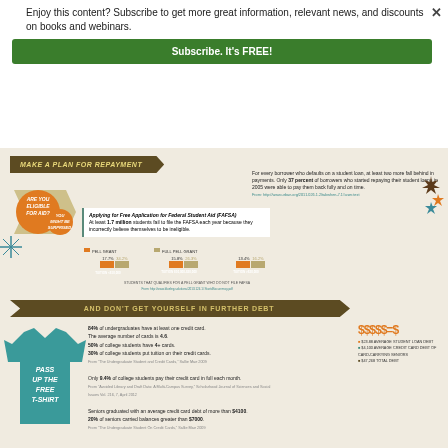Enjoy this content? Subscribe to get more great information, relevant news, and discounts on books and webinars.
Subscribe. It's FREE!
MAKE A PLAN FOR REPAYMENT
[Figure (illustration): Orange speech bubbles with text 'Are you eligible for aid? You might be surprised.' on tan arrow background]
For every borrower who defaults on a student loan, at least two more fall behind in payments. Only 37 percent of borrowers who started repaying their student loans in 2005 were able to pay them back fully and on time.
Applying for Free Application for Federal Student Aid (FAFSA) At least 1.7 million students fail to file the FAFSA each year because they incorrectly believe themselves to be ineligible.
[Figure (grouped-bar-chart): Students that qualifies for a Pell Grant who do not file FAFSA]
AND DON'T GET YOURSELF IN FURTHER DEBT
[Figure (illustration): Teal t-shirt with text 'Pass up the free t-shirt']
84% of undergraduates have at least one credit card. The average number of cards is 4.6. 50% of college students have 4+ cards. 30% of college students put tuition on their credit cards. Only 9.4% of college students pay their credit card in full each month. Seniors graduated with an average credit card debt of more than $4100. 20% of seniors carried balances greater than $7000.
[Figure (infographic): Dollar signs $$$$$ = $ with legend showing $23.88 Average Student Loan Debt, $4,100 Average Credit Card Debt of Card-Carrying Seniors, $47,268 Total Debt]